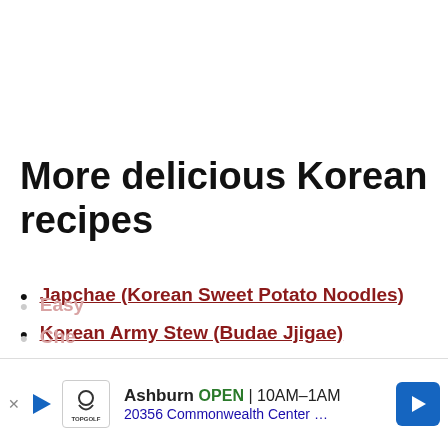More delicious Korean recipes
Japchae (Korean Sweet Potato Noodles)
Korean Army Stew (Budae Jjigae)
Korean Beef Bulgogi Bowl (Perfect for Meal-Prep)
Fried Chicken Wings in Asian Hot Sauce (Crispy Even When Chilled!)
Easy …
Che…
[Figure (other): Advertisement banner for Topgolf Ashburn showing OPEN 10AM-1AM, 20356 Commonwealth Center ..., with navigation arrow icon]